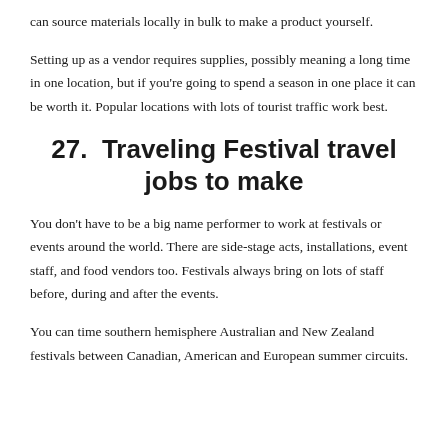can source materials locally in bulk to make a product yourself.
Setting up as a vendor requires supplies, possibly meaning a long time in one location, but if you're going to spend a season in one place it can be worth it. Popular locations with lots of tourist traffic work best.
27.  Traveling Festival travel jobs to make
You don't have to be a big name performer to work at festivals or events around the world. There are side-stage acts, installations, event staff, and food vendors too. Festivals always bring on lots of staff before, during and after the events.
You can time southern hemisphere Australian and New Zealand festivals between Canadian, American and European summer circuits.